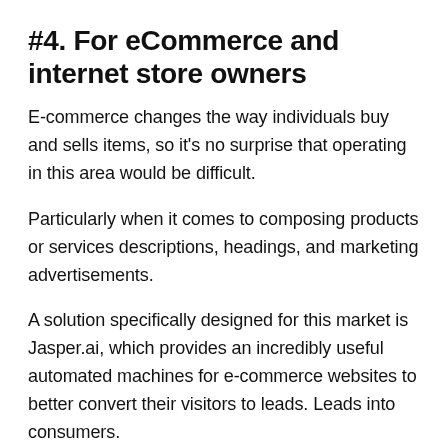#4. For eCommerce and internet store owners
E-commerce changes the way individuals buy and sells items, so it's no surprise that operating in this area would be difficult.
Particularly when it comes to composing products or services descriptions, headings, and marketing advertisements.
A solution specifically designed for this market is Jasper.ai, which provides an incredibly useful automated machines for e-commerce websites to better convert their visitors to leads. Leads into consumers.